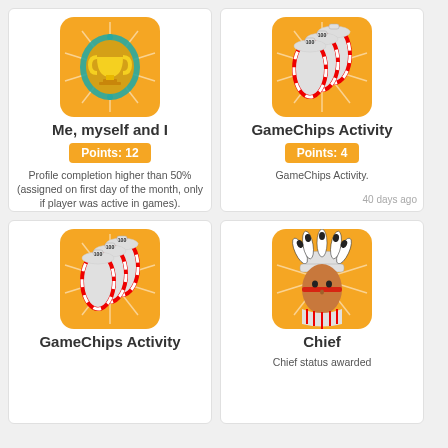[Figure (illustration): Trophy in ornate teal frame badge icon with golden sunburst background]
Me, myself and I
Points: 12
Profile completion higher than 50% (assigned on first day of the month, only if player was active in games).
23 days ago
[Figure (illustration): Game chips (candy cane style poker chips) badge icon with golden sunburst background]
GameChips Activity
Points: 4
GameChips Activity.
40 days ago
[Figure (illustration): Game chips (candy cane style poker chips) badge icon with golden sunburst background]
GameChips Activity
[Figure (illustration): Native American chief face with headdress badge icon with golden sunburst background]
Chief
Chief status awarded